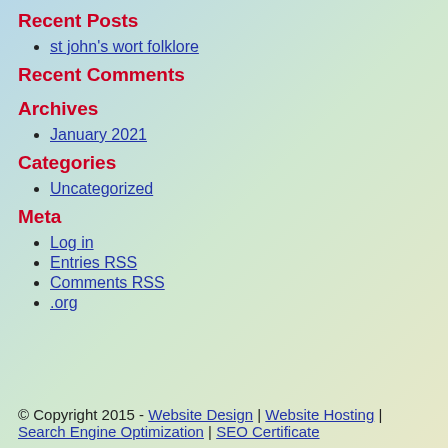Recent Posts
st john's wort folklore
Recent Comments
Archives
January 2021
Categories
Uncategorized
Meta
Log in
Entries RSS
Comments RSS
.org
© Copyright 2015 - Website Design | Website Hosting | Search Engine Optimization | SEO Certificate